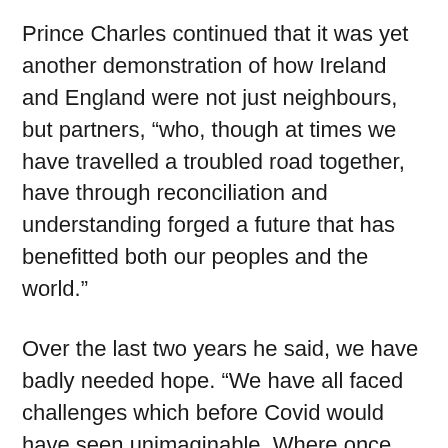Prince Charles continued that it was yet another demonstration of how Ireland and England were not just neighbours, but partners, “who, though at times we have travelled a troubled road together, have through reconciliation and understanding forged a future that has benefitted both our peoples and the world.”
Over the last two years he said, we have badly needed hope. “We have all faced challenges which before Covid would have seen unimaginable. Where once stood borders or seas dividing nations, we have been shown, in the starkest of terms, just how connected we are as a global community.”
His Royal Highness said it gave him